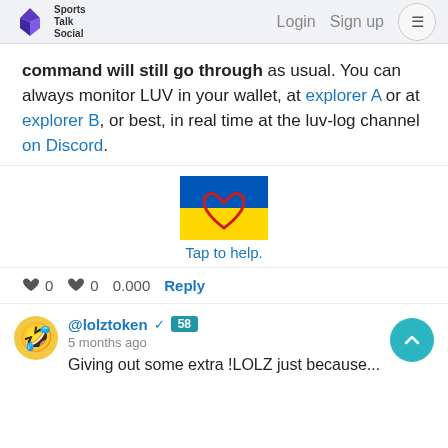Sports Talk Social | Login  Sign up
command will still go through as usual. You can always monitor LUV in your wallet, at explorer A or at explorer B, or best, in real time at the luv-log channel on Discord.
[Figure (illustration): Ukraine flag colored rectangle with a red heart outline drawn on it, with caption 'Tap to help.']
♥ 0   ♥ 0   0.000   Reply
@lolztoken ✓ 58
5 months ago
Giving out some extra !LOLZ just because...